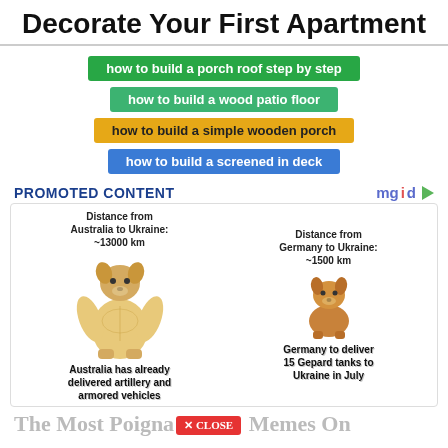Decorate Your First Apartment
how to build a porch roof step by step
how to build a wood patio floor
how to build a simple wooden porch
how to build a screened in deck
PROMOTED CONTENT
[Figure (illustration): Meme image showing a large muscular Shiba Inu dog labeled 'Distance from Australia to Ukraine: ~13000 km' with caption 'Australia has already delivered artillery and armored vehicles', and a small Shiba Inu dog labeled 'Distance from Germany to Ukraine: ~1500 km' with caption 'Germany to deliver 15 Gepard tanks to Ukraine in July']
The Most Poignant [X CLOSE] Memes On